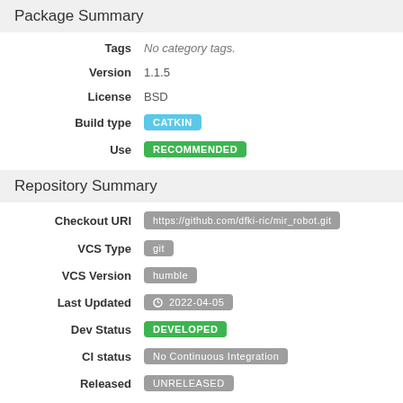Package Summary
| Field | Value |
| --- | --- |
| Tags | No category tags. |
| Version | 1.1.5 |
| License | BSD |
| Build type | CATKIN |
| Use | RECOMMENDED |
Repository Summary
| Field | Value |
| --- | --- |
| Checkout URI | https://github.com/dfki-ric/mir_robot.git |
| VCS Type | git |
| VCS Version | humble |
| Last Updated | 2022-04-05 |
| Dev Status | DEVELOPED |
| CI status | No Continuous Integration |
| Released | UNRELEASED |